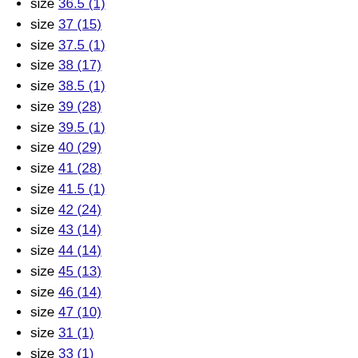size 36.5 (1)
size 37 (15)
size 37.5 (1)
size 38 (17)
size 38.5 (1)
size 39 (28)
size 39.5 (1)
size 40 (29)
size 41 (28)
size 41.5 (1)
size 42 (24)
size 43 (14)
size 44 (14)
size 45 (13)
size 46 (14)
size 47 (10)
size 31 (1)
size 33 (1)
size 26 (1)
size 27 (1)
size 28 (1)
size 29 (1)
size 48 (5)
size XXS (12)
size XS (17)
size S (24)